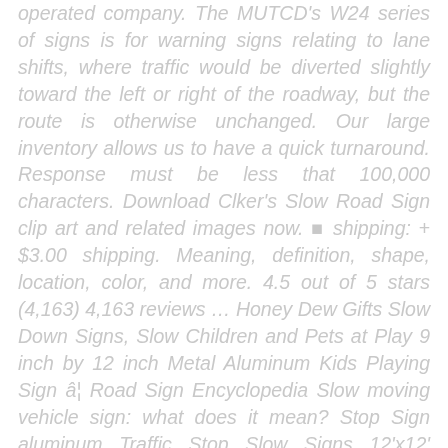operated company. The MUTCD's W24 series of signs is for warning signs relating to lane shifts, where traffic would be diverted slightly toward the left or right of the roadway, but the route is otherwise unchanged. Our large inventory allows us to have a quick turnaround. Response must be less that 100,000 characters. Download Clker's Slow Road Sign clip art and related images now. ▪ shipping: + $3.00 shipping. Meaning, definition, shape, location, color, and more. 4.5 out of 5 stars (4,163) 4,163 reviews … Honey Dew Gifts Slow Down Signs, Slow Children and Pets at Play 9 inch by 12 inch Metal Aluminum Kids Playing Sign â¦ Road Sign Encyclopedia Slow moving vehicle sign: what does it mean? Stop Sign aluminum Traffic Stop Slow Signs 12'x12' Octagon 40 Mil Warning Sign. Bundle of (4) Please Slow Down 12' x 18' Yellow Safety Sign + Metal Ground Stakes, FREE Shipping on orders over $25 shipped by Amazon, VIBE